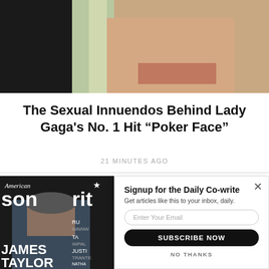[Figure (photo): Close-up photo of Lady Gaga with blonde hair against a dark background]
The Sexual Innuendos Behind Lady Gaga's No. 1 Hit “Poker Face”
21 MINUTES AGO
[Figure (photo): American Songwriter magazine cover featuring James Taylor seated wearing a cap and dark jacket]
[Figure (screenshot): Email signup popup: Signup for the Daily Co-write. Get articles like this to your inbox, daily. Enter Your Email field. SUBSCRIBE NOW button. NO THANKS link.]